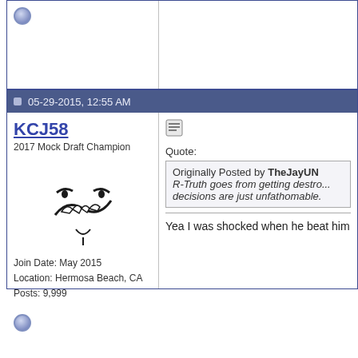05-29-2015, 12:55 AM
KCJ58
2017 Mock Draft Champion
Join Date: May 2015
Location: Hermosa Beach, CA
Posts: 9,999
Quote:
Originally Posted by TheJayUN...
R-Truth goes from getting destro... decisions are just unfathomable.
Yea I was shocked when he beat him